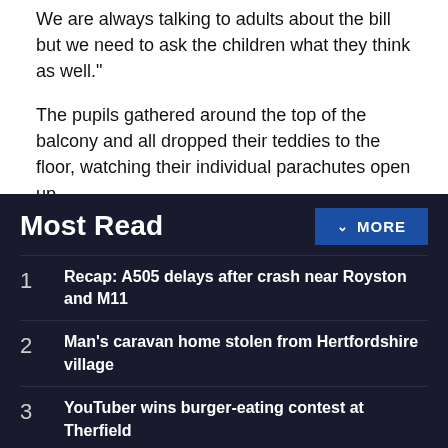We are always talking to adults about the bill but we need to ask the children what they think as well.
The pupils gathered around the top of the balcony and all dropped their teddies to the floor, watching their individual parachutes open up.
Head teacher at Barley First School Julie Price said: "It was a great morning which went really well. All the teddies' parachutes worked much better than we thought they would."
Most Read
1 Recap: A505 delays after crash near Royston and M11
2 Man's caravan home stolen from Hertfordshire village
3 YouTuber wins burger-eating contest at Therfield